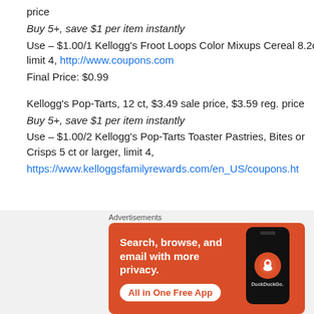price
Buy 5+, save $1 per item instantly
Use – $1.00/1 Kellogg's Froot Loops Color Mixups Cereal 8.2oz, limit 4, http://www.coupons.com
Final Price: $0.99
Kellogg's Pop-Tarts, 12 ct, $3.49 sale price, $3.59 reg. price
Buy 5+, save $1 per item instantly
Use – $1.00/2 Kellogg's Pop-Tarts Toaster Pastries, Bites or Crisps 5 ct or larger, limit 4,
https://www.kelloggsfamilyrewards.com/en_US/coupons.ht
Advertisements
[Figure (infographic): DuckDuckGo advertisement banner with orange background showing 'Search, browse, and email with more privacy. All in One Free App' text with phone graphic and DuckDuckGo logo]